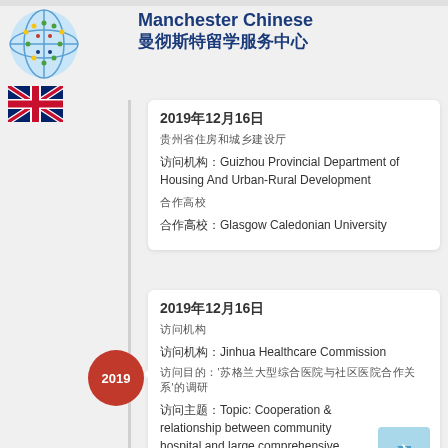[Figure (logo): Globe logo with globe icon and UK flag below]
Manchester Chinese 曼彻斯特留学服务中心
2019年12月16日
贵州省住房和城乡建设厅
访问机构：Guizhou Provincial Department of Housing And Urban-Rural Development
合作高校
合作高校：Glasgow Caledonian University
2019年12月16日
访问机构
访问机构：Jinhua Healthcare Commission
访问目的：'苏格兰大型综合医院与社区医院合作关系'的调研
访问主题：Topic: Cooperation & relationship between community hospital and large comprehensive hospitals in Scotland